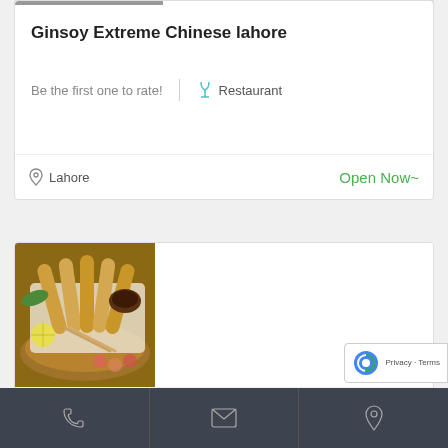Ginsoy Extreme Chinese lahore
Be the first one to rate!
Restaurant
Lahore
Open Now~
[Figure (photo): Food photo showing tempura shrimp on skewers with chopsticks, lemon slices, and dipping sauce on a wicker tray]
Phone | Email | Location icons footer bar